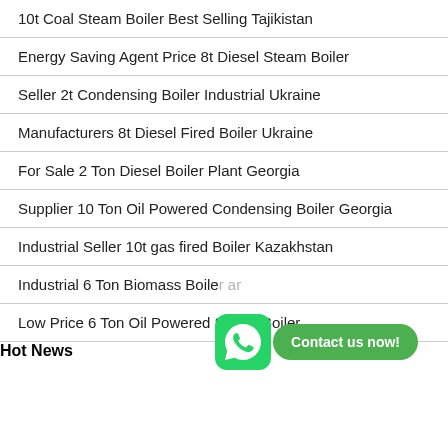10t Coal Steam Boiler Best Selling Tajikistan
Energy Saving Agent Price 8t Diesel Steam Boiler
Seller 2t Condensing Boiler Industrial Ukraine
Manufacturers 8t Diesel Fired Boiler Ukraine
For Sale 2 Ton Diesel Boiler Plant Georgia
Supplier 10 Ton Oil Powered Condensing Boiler Georgia
Industrial Seller 10t gas fired Boiler Kazakhstan
Industrial 6 Ton Biomass Boiler ar
Low Price 6 Ton Oil Powered Steam Boiler
Hot News